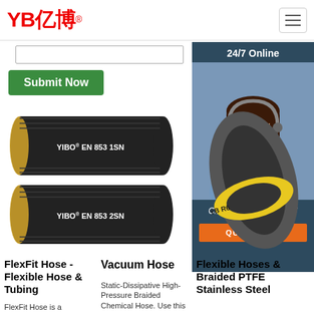[Figure (logo): YB億博 logo in red text]
[Figure (screenshot): Hamburger menu button top right]
[Figure (screenshot): Search input bar]
[Figure (screenshot): Green Submit Now button]
[Figure (photo): 24/7 Online customer service panel with agent photo, Click here for free chat text, and orange QUOTATION button]
[Figure (photo): Two YIBO EN 853 1SN and EN 853 2SN black hydraulic hoses stacked]
[Figure (photo): Gray vacuum hose with yellow YB R6 label]
FlexFit Hose - Flexible Hose & Tubing
FlexFit Hose is a
Vacuum Hose
Static-Dissipative High-Pressure Braided Chemical Hose. Use this
Flexible Hoses & Braided PTFE Stainless Steel